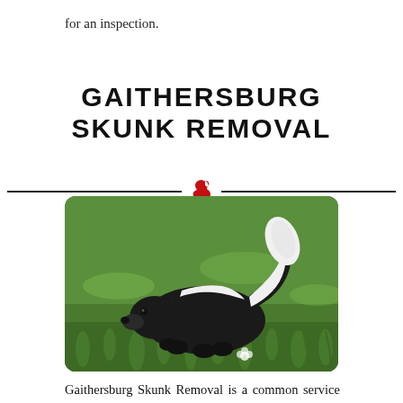for an inspection.
GAITHERSBURG SKUNK REMOVAL
[Figure (photo): A black and white striped skunk standing on green grass, photographed from the side, with its fluffy tail raised.]
Gaithersburg Skunk Removal is a common service that Xceptional Wildlife Removal